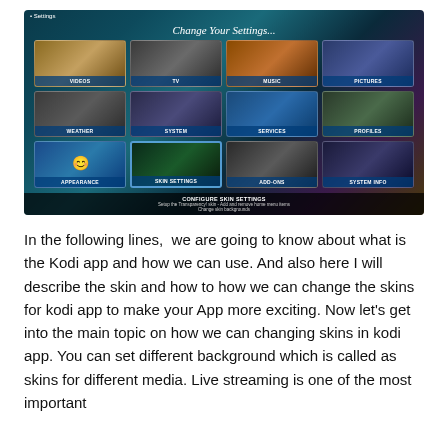[Figure (screenshot): Kodi media center Settings screen showing a grid of 12 menu items: Videos, TV, Music, Pictures, Weather, System, Services, Profiles, Appearance, Skin Settings (selected), Add-ons, System Info. Bottom bar shows 'CONFIGURE SKIN SETTINGS' with subtitle text.]
In the following lines,  we are going to know about what is the Kodi app and how we can use. And also here I will describe the skin and how to how we can change the skins for kodi app to make your App more exciting. Now let's get into the main topic on how we can changing skins in kodi app. You can set different background which is called as skins for different media. Live streaming is one of the most important